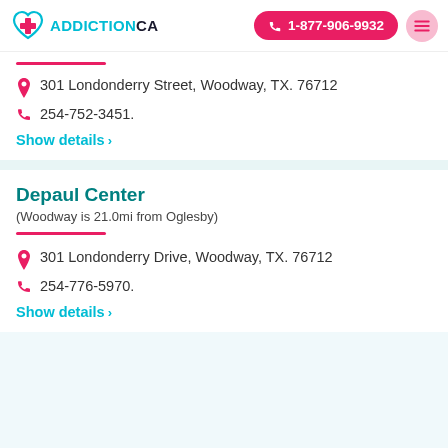ADDICTIONCA | 1-877-906-9932
301 Londonderry Street, Woodway, TX. 76712
254-752-3451.
Show details >
Depaul Center
(Woodway is 21.0mi from Oglesby)
301 Londonderry Drive, Woodway, TX. 76712
254-776-5970.
Show details >